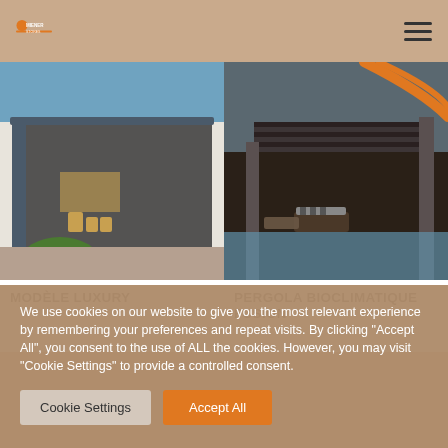Miener Stores logo and navigation
[Figure (photo): Left product photo: Modèle Luxury pergola with dark gray retractable screens on a house terrace with garden]
[Figure (photo): Right product photo: Pergola Bioclimatique Fusion with curved orange and dark metal frame over a pool area]
MODÈLE LUXURY
PERGOLA BIOCLIMATIQUE FUSION
We use cookies on our website to give you the most relevant experience by remembering your preferences and repeat visits. By clicking "Accept All", you consent to the use of ALL the cookies. However, you may visit "Cookie Settings" to provide a controlled consent.
Cookie Settings | Accept All